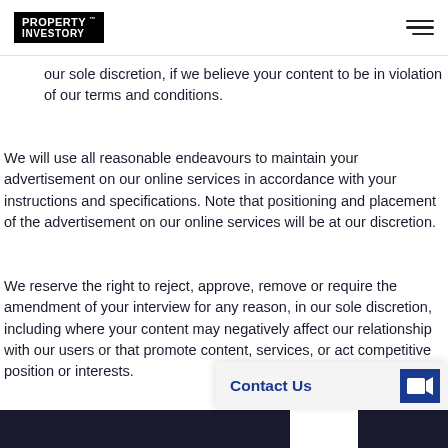PROPERTY INVESTORY
our sole discretion, if we believe your content to be in violation of our terms and conditions.
We will use all reasonable endeavours to maintain your advertisement on our online services in accordance with your instructions and specifications. Note that positioning and placement of the advertisement on our online services will be at our discretion.
We reserve the right to reject, approve, remove or require the amendment of your interview for any reason, in our sole discretion, including where your content may negatively affect our relationship with our users or that promote content, services, or act competitive position or interests.